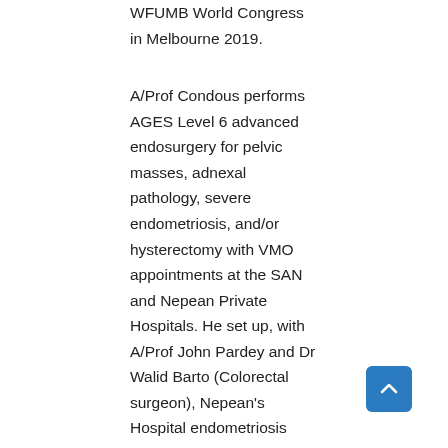WFUMB World Congress in Melbourne 2019.
A/Prof Condous performs AGES Level 6 advanced endosurgery for pelvic masses, adnexal pathology, severe endometriosis, and/or hysterectomy with VMO appointments at the SAN and Nepean Private Hospitals. He set up, with A/Prof John Pardey and Dr Walid Barto (Colorectal surgeon), Nepean's Hospital endometriosis multi-disciplinary team (MDT). Condous and Barto perform joint laparoscopic and robotic surgery for women with stage IV intestinal endometriosis at the SAN and Nepean Hospitals. Condous also runs RANZCOG accredited 'Hands on' Laparoscopic Workshops for Gynaecologists at the Kolling Institute, RNSH. Recognised